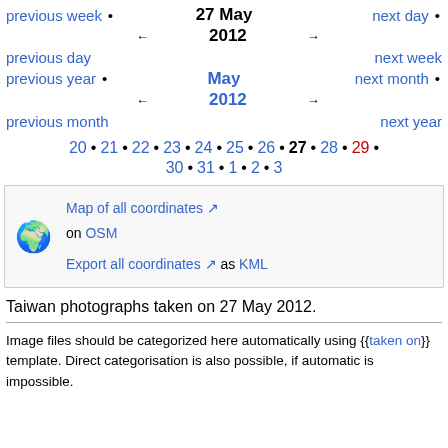previous week • 27 May 2012 • next day
← →
previous day                         next week
previous year • May 2012 • next month
← →
previous month                       next year
20 • 21 • 22 • 23 • 24 • 25 • 26 • 27 • 28 • 29 •
30 • 31 • 1 • 2 • 3
[Figure (infographic): Globe emoji with links: Map of all coordinates on OSM, Export all coordinates as KML]
Taiwan photographs taken on 27 May 2012.
Image files should be categorized here automatically using {{taken on}} template. Direct categorisation is also possible, if automatic is impossible.